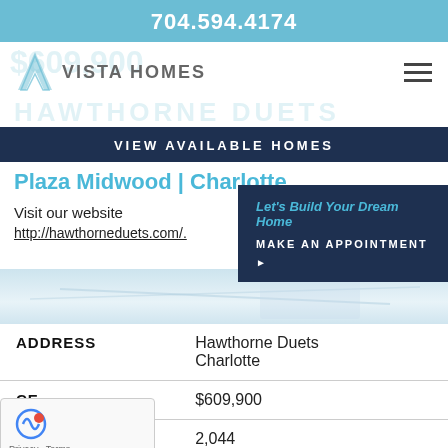704.594.4174
[Figure (logo): Vista Homes logo with V chevron and text VISTA HOMES]
$609,900
HAWTHORNE DUETS
VIEW AVAILABLE HOMES
Plaza Midwood | Charlotte
Let's Build Your Dream Home
MAKE AN APPOINTMENT ▶
Visit our website
http://hawthorneduets.com/.
| Field | Value |
| --- | --- |
| ADDRESS | Hawthorne Duets Charlotte |
| CE (PRICE) | $609,900 |
| SQFT | 2,044 |